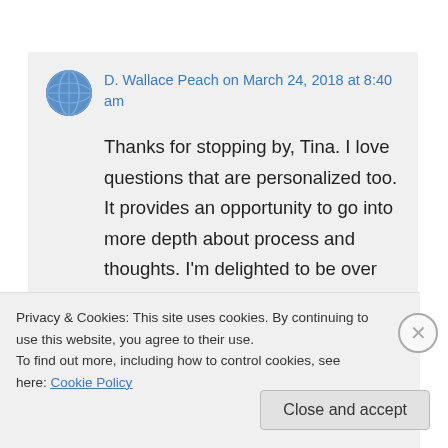D. Wallace Peach on March 24, 2018 at 8:40 am
Thanks for stopping by, Tina. I love questions that are personalized too. It provides an opportunity to go into more depth about process and thoughts. I'm delighted to be over here on Kathy's site. Sending you hugs, my friend. <3
Privacy & Cookies: This site uses cookies. By continuing to use this website, you agree to their use. To find out more, including how to control cookies, see here: Cookie Policy
Close and accept